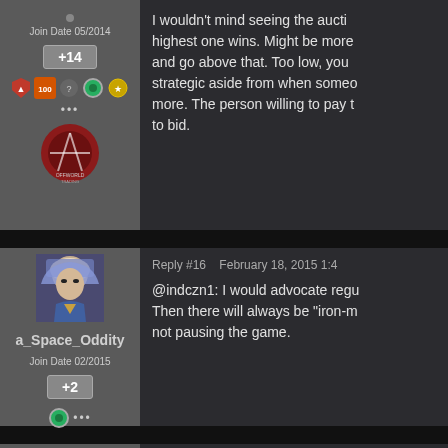Join Date 05/2014
+14
I wouldn't mind seeing the auction where highest one wins. Might be more and go above that. Too low, you would strategic aside from when someone more. The person willing to pay to to bid.
Reply #16   February 18, 2015 1:4
a_Space_Oddity
Join Date 02/2015
+2
@indczn1: I would advocate regu Then there will always be "iron-m not pausing the game.
Reply #17   February 18, 2015 1:5